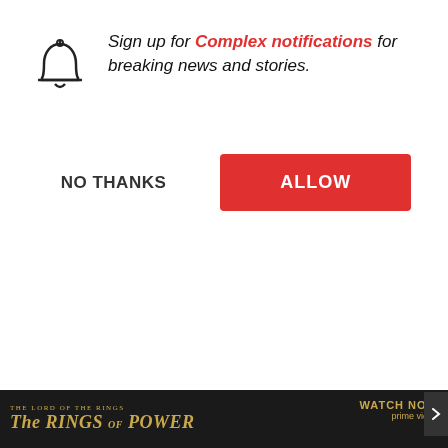Sign up for Complex notifications for breaking news and stories.
NO THANKS
ALLOW
Top Articles
you can manage th... use and vehicles y... helicopters to tank... anything we've ev... combines a person... chopper. It doesn't... game.
[Figure (photo): Thumbnail photo of a smiling man in a black t-shirt with colorful artwork in background, partly obscured by white panel]
THE LORD OF THE RINGS THE RINGS OF POWER WATCH NOW prime video